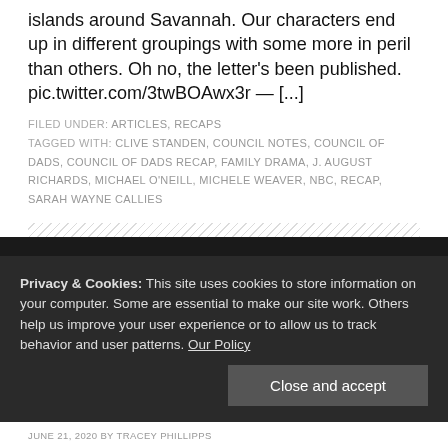islands around Savannah. Our characters end up in different groupings with some more in peril than others. Oh no, the letter's been published. pic.twitter.com/3twBOAwx3r — [...]
FILED UNDER: ARTICLES, RECAPS
TAGGED WITH: CLIVE STANDEN, COUNCIL NOTES, COUNCIL OF DADS, COUNCIL OF DADS RECAP, FAMILY DRAMA, J. AUGUST RICHARDS, MICHAEL O'NEILL, MICHELE WEAVER, NBC, RECAP, SARAH WAYNE CALLIES
Privacy & Cookies: This site uses cookies to store information on your computer. Some are essential to make our site work. Others help us improve your user experience or to allow us to track behavior and user patterns. Our Policy
JUNE 21, 2020 BY TRACEY PHILLIPPS